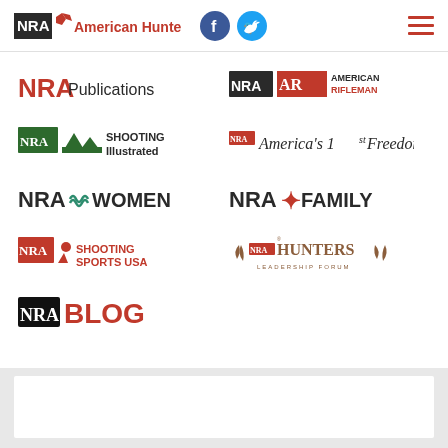[Figure (logo): NRA American Hunter logo in header]
[Figure (logo): Facebook and Twitter social icons]
[Figure (logo): Hamburger menu icon]
[Figure (logo): NRA Publications logo]
[Figure (logo): NRA American Rifleman logo]
[Figure (logo): NRA Shooting Illustrated logo]
[Figure (logo): NRA America's 1st Freedom logo]
[Figure (logo): NRA Women logo]
[Figure (logo): NRA Family logo]
[Figure (logo): NRA Shooting Sports USA logo]
[Figure (logo): Hunters Leadership Forum logo]
[Figure (logo): NRA Blog logo]